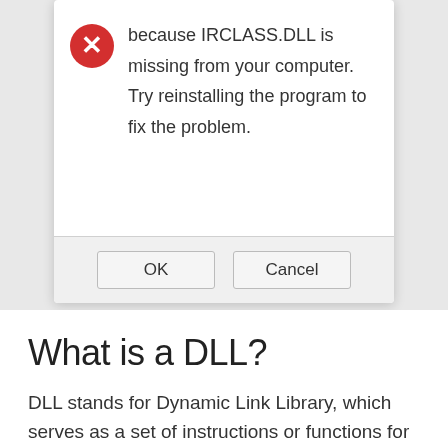[Figure (screenshot): Windows error dialog box with red X icon showing text 'because IRCLASS.DLL is missing from your computer. Try reinstalling the program to fix the problem.' with OK and Cancel buttons]
What is a DLL?
DLL stands for Dynamic Link Library, which serves as a set of instructions or functions for